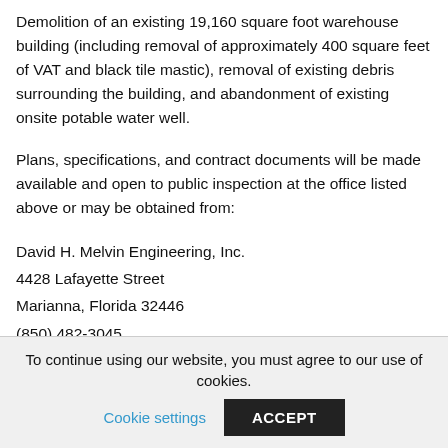Demolition of an existing 19,160 square foot warehouse building (including removal of approximately 400 square feet of VAT and black tile mastic), removal of existing debris surrounding the building, and abandonment of existing onsite potable water well.
Plans, specifications, and contract documents will be made available and open to public inspection at the office listed above or may be obtained from:
David H. Melvin Engineering, Inc.
4428 Lafayette Street
Marianna, Florida 32446
(850) 482-3045
To continue using our website, you must agree to our use of cookies. Cookie settings ACCEPT